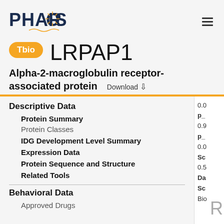PHAROS
LRPAP1
Tbio
Alpha-2-macroglobulin receptor-associated protein  Download
Descriptive Data
Protein Summary
Protein Classes
IDG Development Level Summary
Expression Data
Protein Sequence and Structure
Related Tools
Behavioral Data
Approved Drugs
0.0
p_
0.9
p_
0.0
Sc
0.5
Da
Sc
Bio